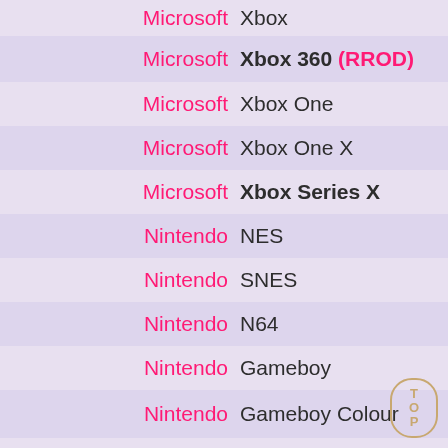Microsoft Xbox
Microsoft Xbox 360 (RROD)
Microsoft Xbox One
Microsoft Xbox One X
Microsoft Xbox Series X
Nintendo NES
Nintendo SNES
Nintendo N64
Nintendo Gameboy
Nintendo Gameboy Colour